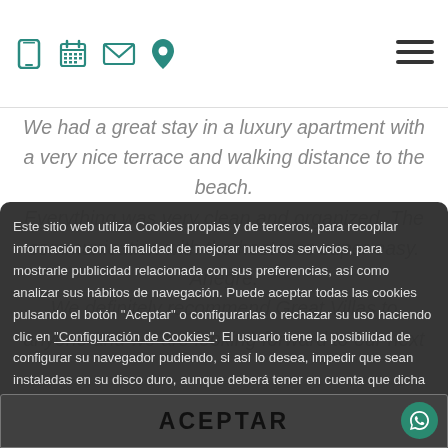[icons: phone, calendar, envelope, location] [hamburger menu]
We had a great stay in a luxury apartment with a very nice terrace and walking distance to the beach. Everything was very clean and organized. The communication with the host was super easy. Anegre. We definitely recommend Great Villas to anyone and we are looking forward to our next
Este sitio web utiliza Cookies propias y de terceros, para recopilar información con la finalidad de mejorar nuestros servicios, para mostrarle publicidad relacionada con sus preferencias, así como analizar sus hábitos de navegación. Puede aceptar todas las cookies pulsando el botón "Aceptar" o configurarlas o rechazar su uso haciendo clic en "Configuración de Cookies". El usuario tiene la posibilidad de configurar su navegador pudiendo, si así lo desea, impedir que sean instaladas en su disco duro, aunque deberá tener en cuenta que dicha acción podrá ocasionar dificultades de navegación de la página web.
ACEPTAR